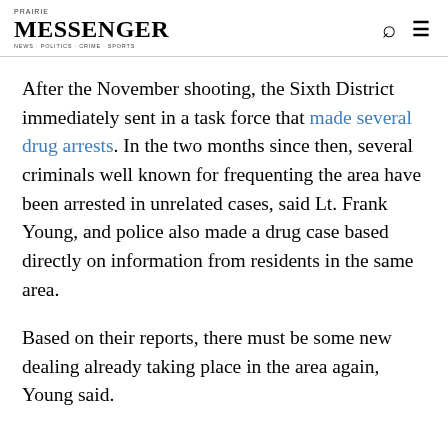Messenger
After the November shooting, the Sixth District immediately sent in a task force that made several drug arrests. In the two months since then, several criminals well known for frequenting the area have been arrested in unrelated cases, said Lt. Frank Young, and police also made a drug case based directly on information from residents in the same area.
Based on their reports, there must be some new dealing already taking place in the area again, Young said.